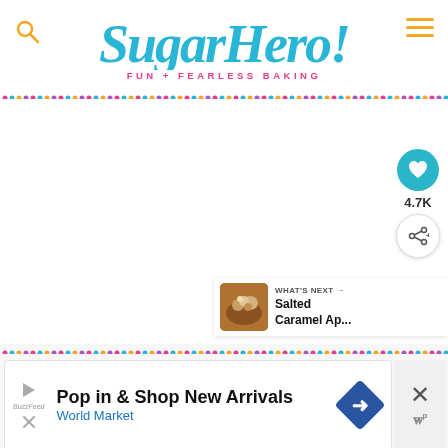SugarHero! Fun + Fearless Baking
[Figure (screenshot): Large white blank main content area of a baking website]
[Figure (infographic): Social sharing sidebar with heart button showing 4.7K and share button]
[Figure (infographic): What's Next card showing Salted Caramel Ap... with food thumbnail]
[Figure (infographic): Advertisement bar: Pop in & Shop New Arrivals - World Market]